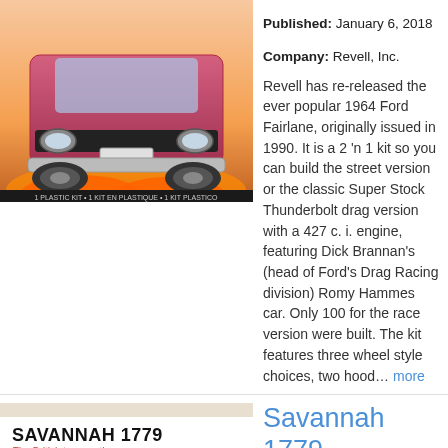[Figure (photo): Product box art of 1964 Ford Fairlane plastic model kit showing the front end of a red/pink car with flames]
Published: January 6, 2018
Company: Revell, Inc.
Revell has re-released the ever popular 1964 Ford Fairlane, originally issued in 1990. It is a 2 'n 1 kit so you can build the street version or the classic Super Stock Thunderbolt drag version with a 427 c. i. engine, featuring Dick Brannan's (head of Ford's Drag Racing division) Romy Hammes car. Only 100 for the race version were built. The kit features three wheel style choices, two hood… more
[Figure (photo): Book cover for Savannah 1779: The British Turn South, showing text on a light background with a decorative lower portion]
Savannah 1779 The British Turn